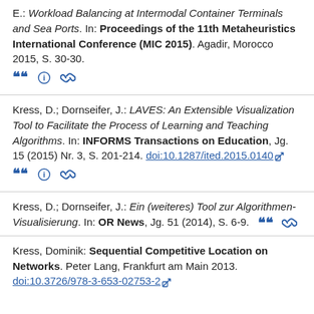E.: Workload Balancing at Intermodal Container Terminals and Sea Ports. In: Proceedings of the 11th Metaheuristics International Conference (MIC 2015). Agadir, Morocco 2015, S. 30-30.
Kress, D.; Dornseifer, J.: LAVES: An Extensible Visualization Tool to Facilitate the Process of Learning and Teaching Algorithms. In: INFORMS Transactions on Education, Jg. 15 (2015) Nr. 3, S. 201-214. doi:10.1287/ited.2015.0140
Kress, D.; Dornseifer, J.: Ein (weiteres) Tool zur Algorithmen-Visualisierung. In: OR News, Jg. 51 (2014), S. 6-9.
Kress, Dominik: Sequential Competitive Location on Networks. Peter Lang, Frankfurt am Main 2013. doi:10.3726/978-3-653-02753-2